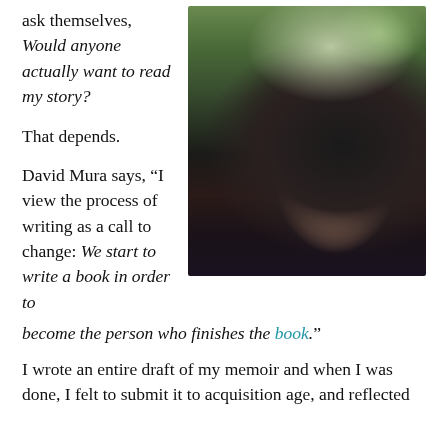ask themselves, Would anyone actually want to read my story?

That depends.

David Mura says, “I view the process of writing as a call to change: We start to write a book in order to
[Figure (photo): A woman with long dark curly hair with gray streaks, wearing a dark top with bird pattern, taking a selfie. Background shows green trees through a window.]
become the person who finishes the book.”
I wrote an entire draft of my memoir and when I was done, I felt...